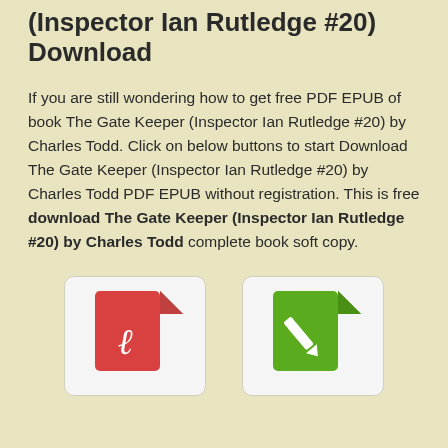(Inspector Ian Rutledge #20) Download
If you are still wondering how to get free PDF EPUB of book The Gate Keeper (Inspector Ian Rutledge #20) by Charles Todd. Click on below buttons to start Download The Gate Keeper (Inspector Ian Rutledge #20) by Charles Todd PDF EPUB without registration. This is free download The Gate Keeper (Inspector Ian Rutledge #20) by Charles Todd complete book soft copy.
[Figure (illustration): Red PDF file icon with a white script letter on a white rounded-rectangle card]
[Figure (illustration): Green EPUB file icon with a white arrow/pen symbol on a white rounded-rectangle card]